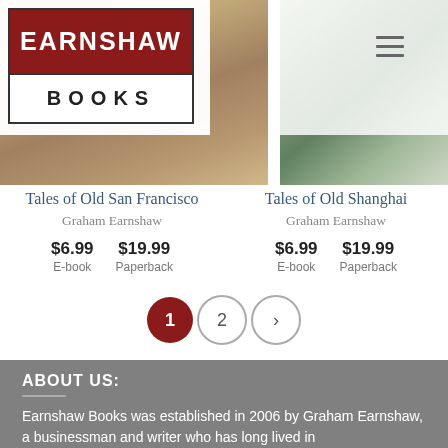[Figure (logo): Earnshaw Books logo with dark red top band and white bottom band]
[Figure (photo): Book cover image for Tales of Old San Francisco by Graham Earnshaw]
[Figure (photo): Book cover image for Tales of Old Shanghai, showing greenery and building]
Tales of Old San Francisco
Graham Earnshaw
$6.99
E-book
$19.99
Paperback
Tales of Old Shanghai
Graham Earnshaw
$6.99
E-book
$19.99
Paperback
[Figure (infographic): Pagination controls: page 1 (active, dark red), page 2, and next arrow button]
ABOUT US:
Earnshaw Books was established in 2006 by Graham Earnshaw, a businessman and writer who has long lived in